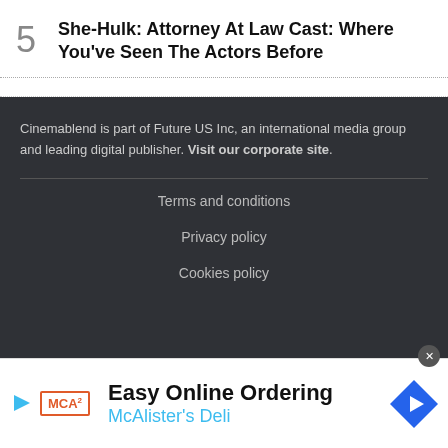5 She-Hulk: Attorney At Law Cast: Where You've Seen The Actors Before
Cinemablend is part of Future US Inc, an international media group and leading digital publisher. Visit our corporate site.
Terms and conditions
Privacy policy
Cookies policy
[Figure (infographic): Advertisement banner for McAlister's Deli: Easy Online Ordering, McAlister's Deli, with logo and navigation arrow icon.]